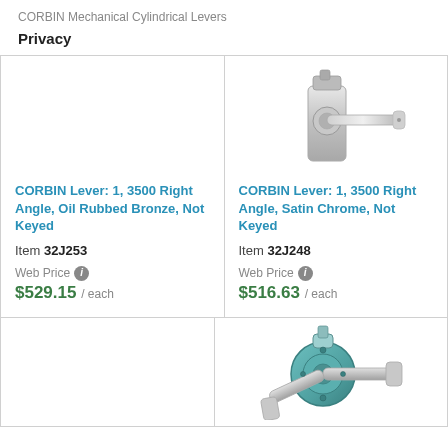CORBIN Mechanical Cylindrical Levers
Privacy
[Figure (photo): CORBIN lever handle in Oil Rubbed Bronze finish, right angle style, not keyed (top portion cropped)]
[Figure (photo): CORBIN lever handle in Satin Chrome finish, right angle style, not keyed (top portion visible)]
CORBIN Lever: 1, 3500 Right Angle, Oil Rubbed Bronze, Not Keyed
Item 32J253
Web Price $529.15 / each
CORBIN Lever: 1, 3500 Right Angle, Satin Chrome, Not Keyed
Item 32J248
Web Price $516.63 / each
[Figure (photo): Empty product image area (bottom left)]
[Figure (photo): CORBIN lever handle, satin chrome, cylindrical lock with lever, bottom row right cell]